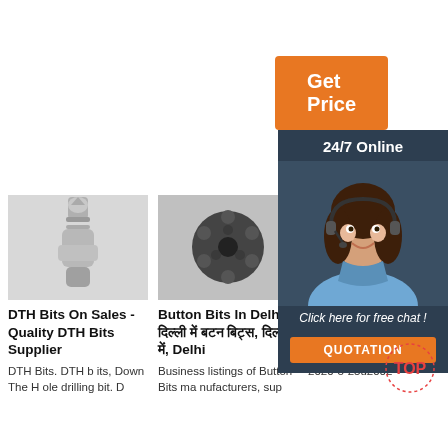[Figure (other): Orange 'Get Price' button]
[Figure (other): Dark panel with '24/7 Online', woman with headset photo, 'Click here for free chat!' text, orange QUOTATION button]
[Figure (photo): DTH drill bit product photo on white/grey background]
DTH Bits On Sales - Quality DTH Bits Supplier
DTH Bits. DTH bits, Down The Hole drilling bit. D
[Figure (photo): Button bit product photo on grey background]
Button Bits In Delhi, दिल्ली में बटन बिट्स, दिल्ली में, Delhi
Business listings of Button Bits manufacturers, sup
[Figure (photo): Drill rod / extension rod product photo]
Ro MM Extension Drill Rod Drifter Rod- Xiamen ...
2020-8-25u2002·